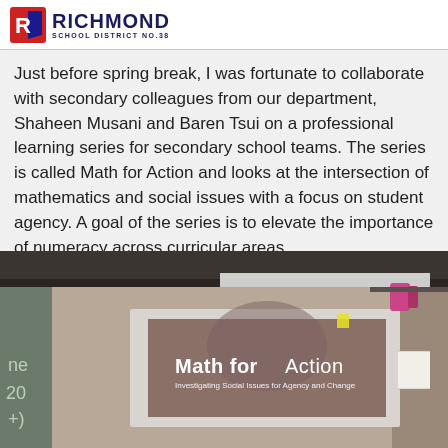RICHMOND SCHOOL DISTRICT NO.38
Just before spring break, I was fortunate to collaborate with secondary colleagues from our department, Shaheen Musani and Baren Tsui on a professional learning series for secondary school teams. The series is called Math for Action and looks at the intersection of mathematics and social issues with a focus on student agency. A goal of the series is to elevate the importance of numeracy across curricular areas.
[Figure (photo): Classroom photo showing a projector screen displaying 'Math for Action - Investigating Social Issues for Agency and Change' presentation slide. A chalkboard with partial numbers/letters visible on the left side.]